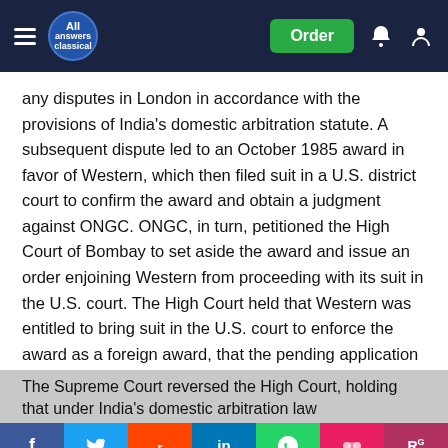All Answers Classical — navigation bar with Order button
any disputes in London in accordance with the provisions of India's domestic arbitration statute. A subsequent dispute led to an October 1985 award in favor of Western, which then filed suit in a U.S. district court to confirm the award and obtain a judgment against ONGC. ONGC, in turn, petitioned the High Court of Bombay to set aside the award and issue an order enjoining Western from proceeding with its suit in the U.S. court. The High Court held that Western was entitled to bring suit in the U.S. court to enforce the award as a foreign award, that the pending application in the High Court to set aside the award did not affect this right, and that, therefore, an injunction was inappropriate. ONGC then appealed to the Supreme Court of India.
The Supreme Court reversed the High Court, holding that under India's domestic arbitration law